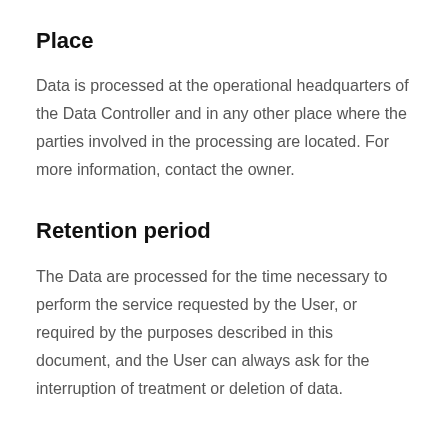Place
Data is processed at the operational headquarters of the Data Controller and in any other place where the parties involved in the processing are located. For more information, contact the owner.
Retention period
The Data are processed for the time necessary to perform the service requested by the User, or required by the purposes described in this document, and the User can always ask for the interruption of treatment or deletion of data.